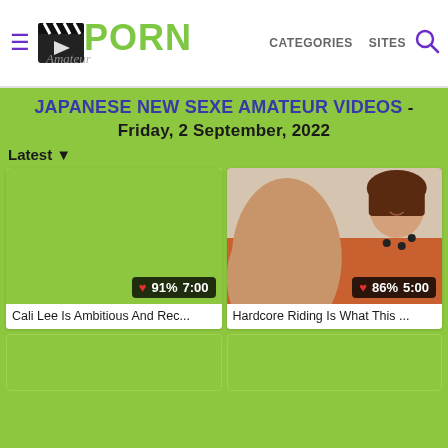AmateurPorn - CATEGORIES  SITES
JAPANESE NEW SEXE AMATEUR VIDEOS - Friday, 2 September, 2022
Latest ▾
[Figure (screenshot): Video thumbnail placeholder (green background) with overlay showing heart icon, 91% rating and 7:00 duration]
Cali Lee Is Ambitious And Rec...
[Figure (photo): Video thumbnail showing a woman looking up at camera, with overlay showing heart icon, 86% rating and 5:00 duration]
Hardcore Riding Is What This ...
[Figure (screenshot): Partial video thumbnail placeholder (green background), bottom row left]
[Figure (screenshot): Partial video thumbnail placeholder (green background), bottom row right]